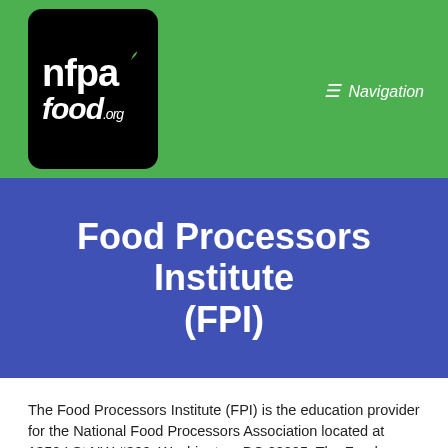[Figure (logo): NFPA Food.org logo — white bold text on black rounded rectangle background, with a small green leaf accent]
≡ Navigation
Food Processors Institute (FPI)
The Food Processors Institute (FPI) is the education provider for the National Food Processors Association located at 1350 I St NW #300, Washington, DC 20005. The Food Processors Institute offers seminars and courses that support the food processing industry, and creates publications, videos, and other training materials for the continuing education of food industry and related staff. Th